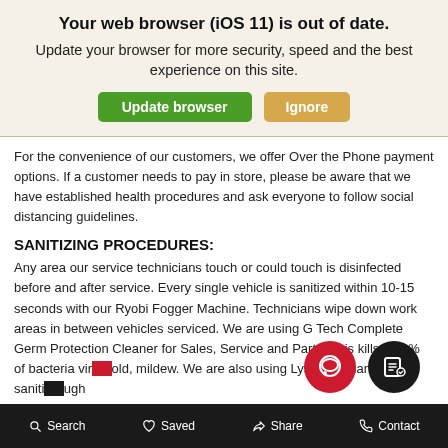Your web browser (iOS 11) is out of date. Update your browser for more security, speed and the best experience on this site.
For the convenience of our customers, we offer Over the Phone payment options. If a customer needs to pay in store, please be aware that we have established health procedures and ask everyone to follow social distancing guidelines.
SANITIZING PROCEDURES:
Any area our service technicians touch or could touch is disinfected before and after service. Every single vehicle is sanitized within 10-15 seconds with our Ryobi Fogger Machine. Technicians wipe down work areas in between vehicles serviced. We are using G Tech Complete Germ Protection Cleaner for Sales, Service and Parts. This kills 99.9% of bacteria vir... old, mildew. We are also using Lysol and hand saniti...ugh...
Search   Saved   Share   Contact